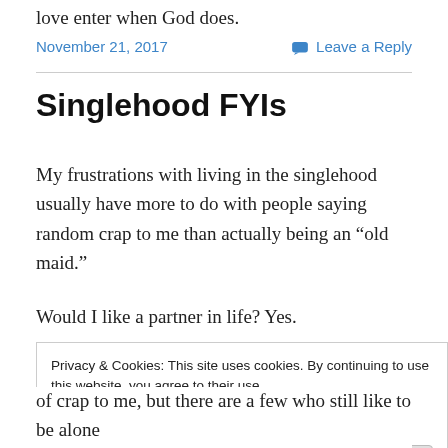love enter when God does.
November 21, 2017    Leave a Reply
Singlehood FYIs
My frustrations with living in the singlehood usually have more to do with people saying random crap to me than actually being an “old maid.”
Would I like a partner in life? Yes.
Privacy & Cookies: This site uses cookies. By continuing to use this website, you agree to their use.
To find out more, including how to control cookies, see here: Cookie Policy
Close and accept
of crap to me, but there are a few who still like to be alone